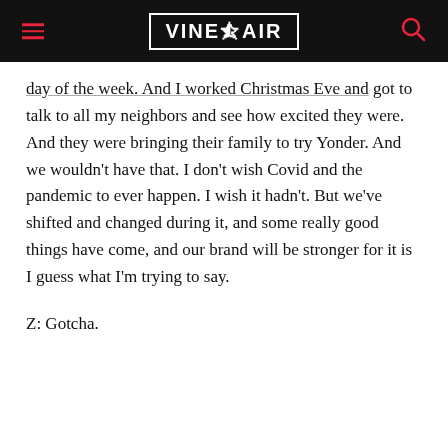VINEPAIR
day of the week. And I worked Christmas Eve and got to talk to all my neighbors and see how excited they were. And they were bringing their family to try Yonder. And we wouldn't have that. I don't wish Covid and the pandemic to ever happen. I wish it hadn't. But we've shifted and changed during it, and some really good things have come, and our brand will be stronger for it is I guess what I'm trying to say.
Z: Gotcha.